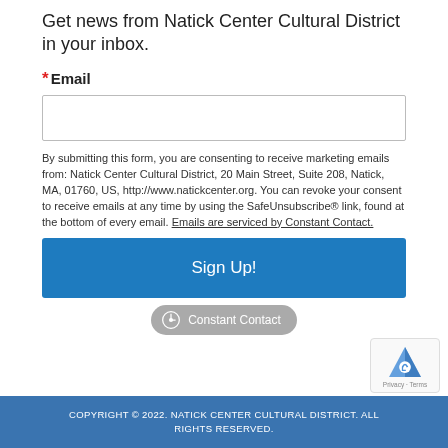Get news from Natick Center Cultural District in your inbox.
* Email
By submitting this form, you are consenting to receive marketing emails from: Natick Center Cultural District, 20 Main Street, Suite 208, Natick, MA, 01760, US, http://www.natickcenter.org. You can revoke your consent to receive emails at any time by using the SafeUnsubscribe® link, found at the bottom of every email. Emails are serviced by Constant Contact.
Sign Up!
[Figure (logo): Constant Contact badge/logo]
[Figure (logo): reCAPTCHA badge with Privacy and Terms links]
COPYRIGHT © 2022. NATICK CENTER CULTURAL DISTRICT. ALL RIGHTS RESERVED.